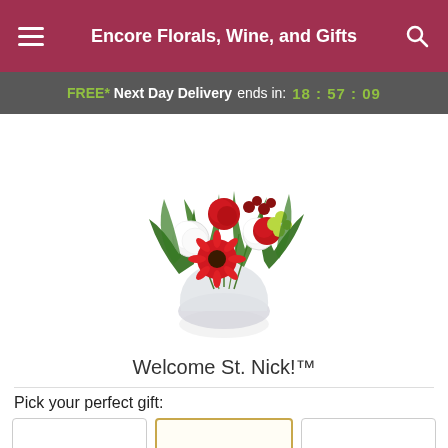Encore Florals, Wine, and Gifts
FREE* Next Day Delivery ends in: 18:57:09
[Figure (photo): A festive floral arrangement in a round glass vase featuring red roses, red gerbera daisies, white carnations, red hypericum berries, green button flowers, and lush greenery.]
Welcome St. Nick!™
Pick your perfect gift: